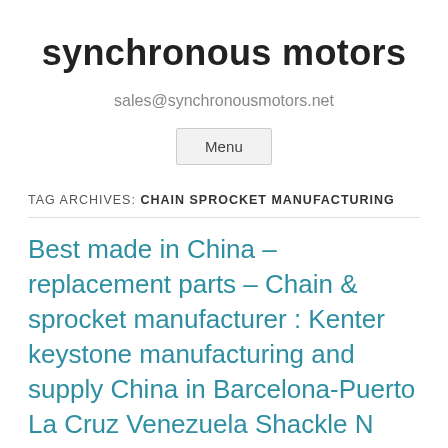synchronous motors
sales@synchronousmotors.net
Menu
TAG ARCHIVES: CHAIN SPROCKET MANUFACTURING
Best made in China – replacement parts – Chain & sprocket manufacturer : Kenter keystone manufacturing and supply China in Barcelona-Puerto La Cruz Venezuela Shackle N Swivle Set Connected U3 Grade Black Marine Anchor Chain with ce certificate top quality low price